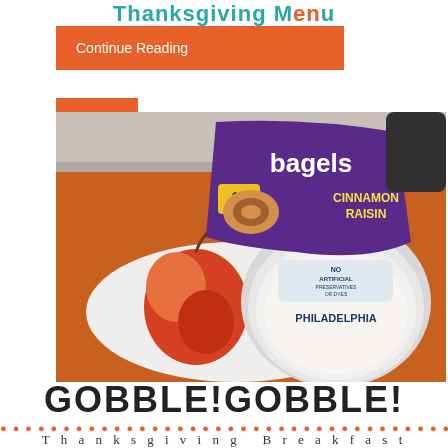Thanksgiving Menu
Continue Reading
[Figure (photo): Photo showing a bag of Thomas' Cinnamon Raisin Bagels (10 pre-sliced), a container of Philadelphia cream cheese (No Artificial), and a red apple on an orange background/placemat on a granite countertop.]
GOBBLE!GOBBLE!
Thanksgiving Breakfast Bagel